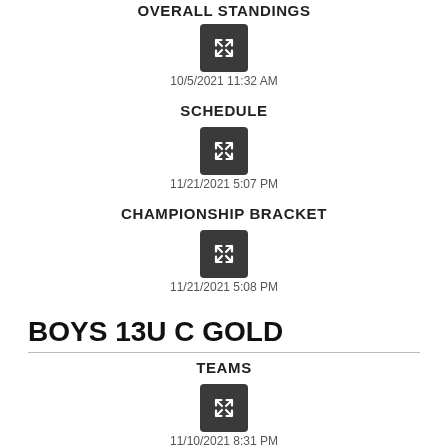[Figure (screenshot): Expand icon button for overall standings]
10/5/2021 11:32 AM
SCHEDULE
[Figure (screenshot): Expand icon button for schedule]
11/21/2021 5:07 PM
CHAMPIONSHIP BRACKET
[Figure (screenshot): Expand icon button for championship bracket]
11/21/2021 5:08 PM
BOYS 13U C GOLD
TEAMS
[Figure (screenshot): Expand icon button for teams]
11/10/2021 8:31 PM